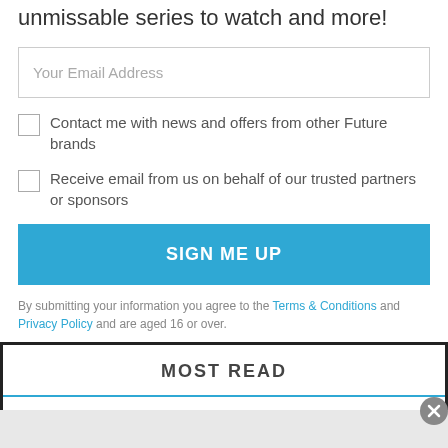unmissable series to watch and more!
Your Email Address
Contact me with news and offers from other Future brands
Receive email from us on behalf of our trusted partners or sponsors
SIGN ME UP
By submitting your information you agree to the Terms & Conditions and Privacy Policy and are aged 16 or over.
MOST READ